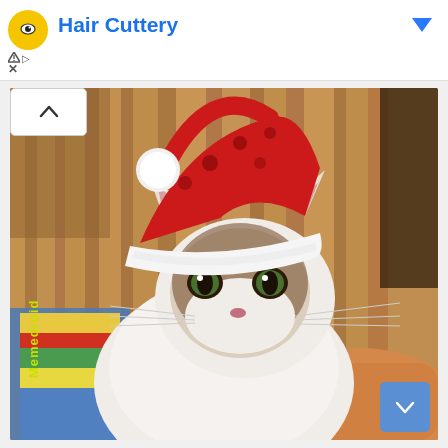[Figure (screenshot): Ad banner for Hair Cuttery with yellow circular logo, blue text title, blue dropdown arrow, ad triangle icon, and X close button]
[Figure (photo): Grumpy Cat wearing a red and white Santa Claus hat, looking unhappy, with 'Memedroid' watermark text rotated vertically on the left side. The cat is white and brown/dark faced, held by human hands, with wooden wall and colorful background behind it. A scroll-up chevron button is in the upper left and a blue scroll-up arrow button in the lower right.]